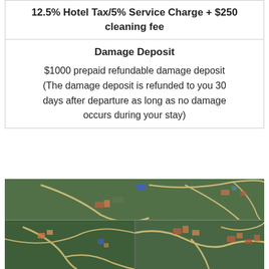| 12.5% Hotel Tax/5% Service Charge + $250 cleaning fee |
| Damage Deposit
$1000 prepaid refundable damage deposit (The damage deposit is refunded to you 30 days after departure as long as no damage occurs during your stay) |
[Figure (photo): Aerial satellite view showing green landscape with winding roads, scattered buildings/structures, split into two panels showing different zoom levels of the same area.]